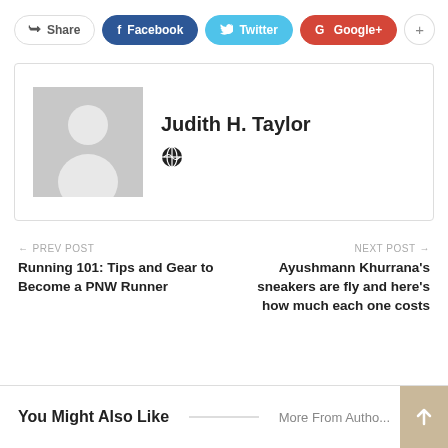[Figure (infographic): Social sharing bar with Share, Facebook, Twitter, Google+, and plus buttons]
[Figure (infographic): Author box with gray placeholder avatar and name Judith H. Taylor with globe icon]
Judith H. Taylor
← PREV POST
Running 101: Tips and Gear to Become a PNW Runner
NEXT POST →
Ayushmann Khurrana's sneakers are fly and here's how much each one costs
You Might Also Like
More From Autho...